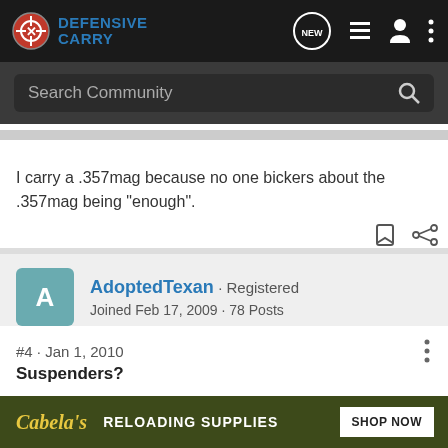Defensive Carry — Search Community
I carry a .357mag because no one bickers about the .357mag being "enough".
AdoptedTexan · Registered
Joined Feb 17, 2009 · 78 Posts
#4 · Jan 1, 2010
Suspenders?
Have you considered Perry suspenders? They attach to a belt and holster... holster.
[Figure (screenshot): Cabela's ad banner: RELOADING SUPPLIES — SHOP NOW]